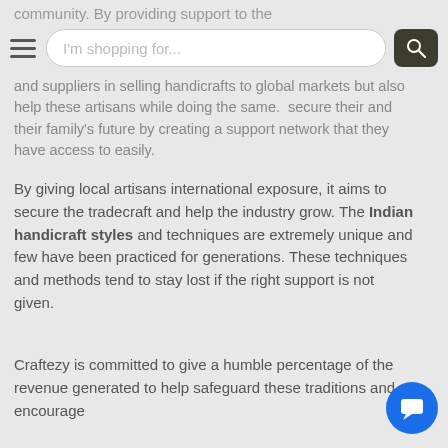community. By providing support to the
[Figure (screenshot): Navigation bar with hamburger menu icon, search bar with placeholder text 'I'm shopping for...', and dark search button with magnifying glass icon]
and suppliers in selling handicrafts to global markets but also help these artisans while doing the same.  secure their and their family's future by creating a support network that they have access to easily.
By giving local artisans international exposure, it aims to secure the tradecraft and help the industry grow. The Indian handicraft styles and techniques are extremely unique and few have been practiced for generations. These techniques and methods tend to stay lost if the right support is not given.
Craftezy is committed to give a humble percentage of the revenue generated to help safeguard these traditions and encourage